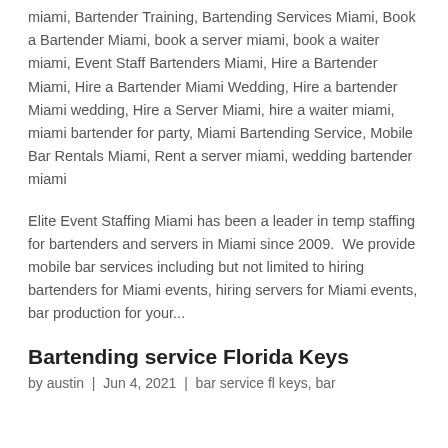miami, Bartender Training, Bartending Services Miami, Book a Bartender Miami, book a server miami, book a waiter miami, Event Staff Bartenders Miami, Hire a Bartender Miami, Hire a Bartender Miami Wedding, Hire a bartender Miami wedding, Hire a Server Miami, hire a waiter miami, miami bartender for party, Miami Bartending Service, Mobile Bar Rentals Miami, Rent a server miami, wedding bartender miami
Elite Event Staffing Miami has been a leader in temp staffing for bartenders and servers in Miami since 2009.  We provide mobile bar services including but not limited to hiring bartenders for Miami events, hiring servers for Miami events, bar production for your...
Bartending service Florida Keys
by austin  |  Jun 4, 2021  |  bar service fl keys, bar